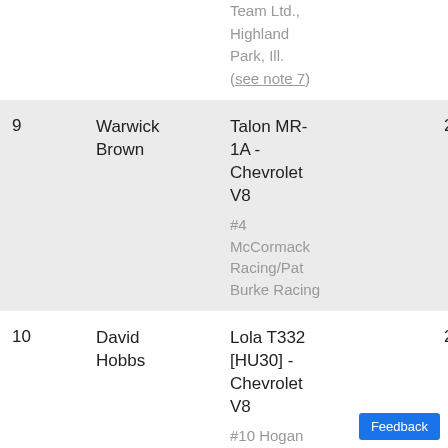| # | Driver | Car / Team | Pts |
| --- | --- | --- | --- |
|  |  | Team Ltd., Highland Park, Ill. (see note 7) |  |
| 9 | Warwick Brown | Talon MR-1A - Chevrolet V8
#4 McCormack Racing/Pat Burke Racing | 25 |
| 10 | David Hobbs | Lola T332 [HU30] - Chevrolet V8
#10 Hogan Racing Ltd., | 24 |